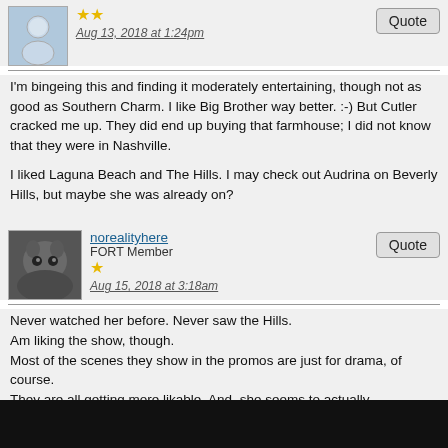[Figure (photo): User avatar - generic face silhouette on blue background]
★★
Aug 13, 2018 at 1:24pm
Quote
I'm bingeing this and finding it moderately entertaining, though not as good as Southern Charm. I like Big Brother way better. :-) But Cutler cracked me up. They did end up buying that farmhouse; I did not know that they were in Nashville.

I liked Laguna Beach and The Hills. I may check out Audrina on Beverly Hills, but maybe she was already on?
norealityhere
FORT Member
[Figure (photo): User avatar - photo of a dark-colored cat]
★
Aug 15, 2018 at 3:18am
Quote
Never watched her before. Never saw the Hills.
Am liking the show, though.
Most of the scenes they show in the promos are just for drama, of course.
They are all getting more likable. And, she seems to actually
know what she's doing.
karna68
FORT Fogey